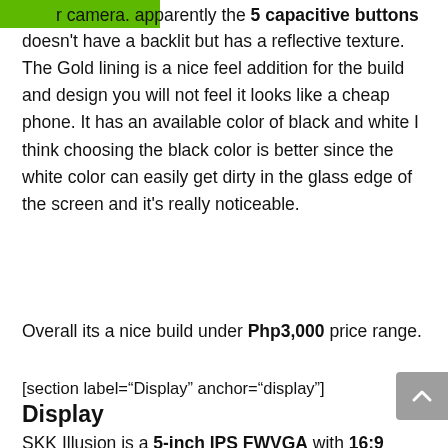...r camera. apparently the 5 capacitive buttons doesn't have a backlit but has a reflective texture. The Gold lining is a nice feel addition for the build and design you will not feel it looks like a cheap phone. It has an available color of black and white I think choosing the black color is better since the white color can easily get dirty in the glass edge of the screen and it's really noticeable.
Overall its a nice build under Php3,000 price range.
[section label="Display" anchor="display"]
Display
SKK Illusion is a 5-inch IPS FWVGA with 16:9 aspect ratio that supports 5 multi-touch. An IPS display that has great